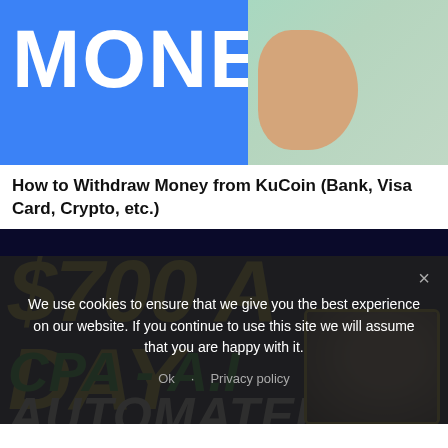[Figure (photo): Blue banner image with large white bold text 'MONEY' and a person on the right side with hand near chin]
How to Withdraw Money from KuCoin (Bank, Visa Card, Crypto, etc.)
[Figure (photo): Dark background promotional image with yellow italic text '$700 A DAY', green italic text 'CPA - A.I', white italic text 'AUTOMATED', a face in a yellow-bordered box on the right, and a light flash effect]
We use cookies to ensure that we give you the best experience on our website. If you continue to use this site we will assume that you are happy with it.
Ok   Privacy policy